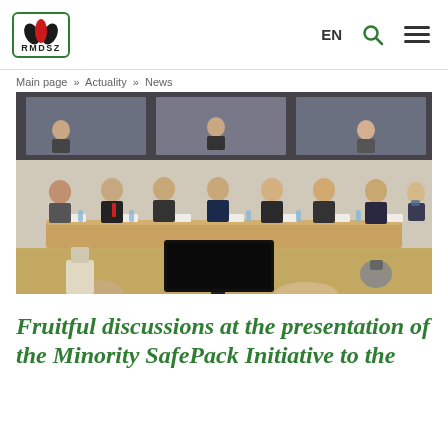RMDSZ — EN
Main page » Actuality » News
[Figure (photo): Panel discussion with approximately 8 people seated at a curved conference table in a formal meeting room. Name placards are visible in front of each participant. A black monitor is on the table in the foreground. Observers are visible in a mezzanine level above.]
Fruitful discussions at the presentation of the Minority SafePack Initiative to the